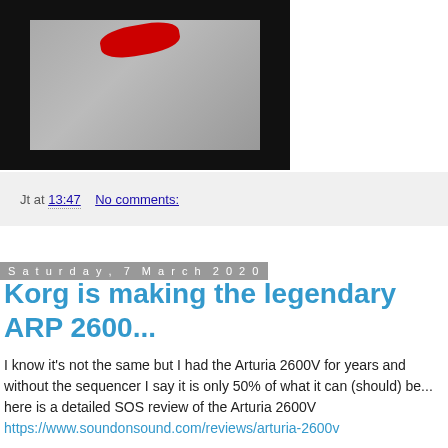[Figure (photo): Black and white photo of a woman silhouette with a red shape near the top, on a dark background.]
Jt at 13:47   No comments:
Saturday, 7 March 2020
Korg is making the legendary ARP 2600...
I know it's not the same but I had the Arturia 2600V for years and without the sequencer I say it is only 50% of what it can (should) be...  here is a detailed SOS review of the Arturia 2600V https://www.soundonsound.com/reviews/arturia-2600v
To celebrate this reissuing, Reverb made a wonderful little documentary, well worth watching: